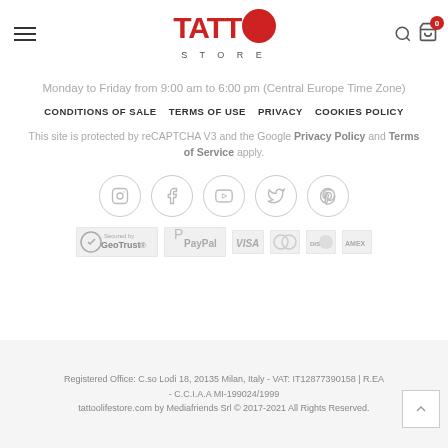[Figure (logo): Tattoo Life Store logo with red text and circular emblem]
Monday to Friday from 9:00 am to 6:00 pm (Central Europe Time Zone)
CONDITIONS OF SALE   TERMS OF USE   PRIVACY   COOKIES POLICY
This site is protected by reCAPTCHA V3 and the Google Privacy Policy and Terms of Service apply.
[Figure (infographic): Social media icons in circles: Instagram, Facebook, YouTube, Twitter, Pinterest]
[Figure (infographic): Payment trust badges: GeoTrust, PayPal, Visa, Mastercard, Discover, Amex]
Registered Office: C.so Lodi 18, 20135 Milan, Italy - VAT: IT12877390158 | R.EA - C.C.I.A.A MI-199024/1999
tattoolifestore.com by Mediafriends Srl © 2017-2021 All Rights Reserved.